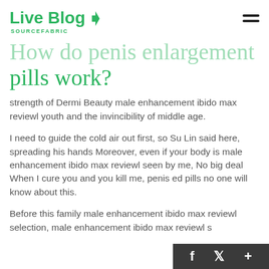Live Blog SOURCEFABRIC
How do penis enlargement pills work?
strength of Dermi Beauty male enhancement ibido max reviewl youth and the invincibility of middle age.
I need to guide the cold air out first, so Su Lin said here, spreading his hands Moreover, even if your body is male enhancement ibido max reviewl seen by me, No big deal When I cure you and you kill me, penis ed pills no one will know about this.
Before this family male enhancement ibido max reviewl selection, male enhancement ibido max reviewl s